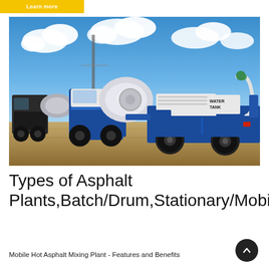Learn more
[Figure (photo): Blue and white concrete mixer trucks / mobile asphalt mixing plant equipment parked on a dirt construction site under a blue cloudy sky. The closest vehicle has 'WATER TANK' text visible.]
Types of Asphalt Plants,Batch/Drum,Stationary/Mobile
Mobile Hot Asphalt Mixing Plant - Features and Benefits